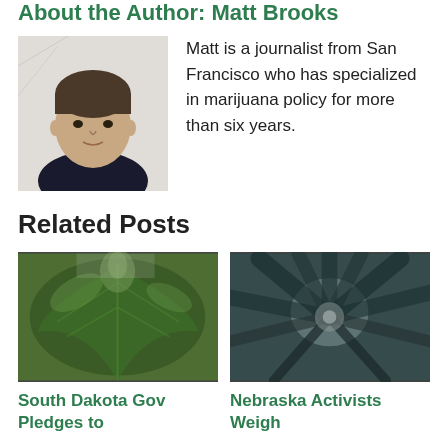About the Author: Matt Brooks
[Figure (photo): Headshot photo of Matt Brooks, a man in a dark shirt against a light background]
Matt is a journalist from San Francisco who has specialized in marijuana policy for more than six years.
Related Posts
[Figure (photo): Close-up photo of a marijuana/cannabis plant with large green leaves]
[Figure (photo): Upward-looking photo of cannabis leaves in a monochromatic teal/dark tone]
South Dakota Gov Pledges to
Nebraska Activists Weigh